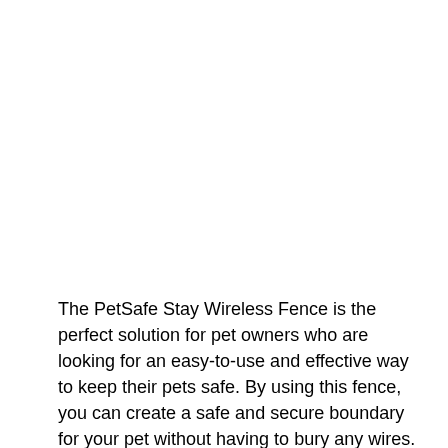The PetSafe Stay Wireless Fence is the perfect solution for pet owners who are looking for an easy-to-use and effective way to keep their pets safe. By using this fence, you can create a safe and secure boundary for your pet without having to bury any wires.
Moreover, this fence is also rechargeable so you don't have to worry about replacing batteries often. Lastly, it is very easy to set up and it will only take you 1-2 hours to complete the installation.
Advance Wireless Boundary
One of the best things about this fence is that it has an advanced wireless boundary feature. This allows you to create